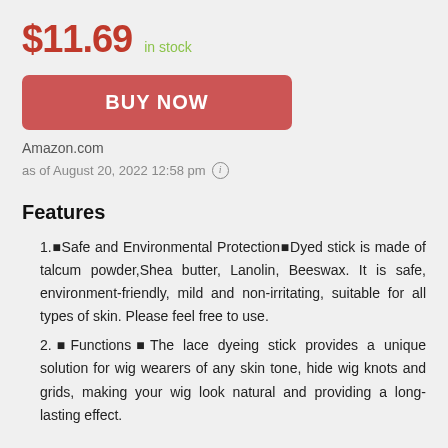$11.69 in stock
BUY NOW
Amazon.com
as of August 20, 2022 12:58 pm
Features
1.■Safe and Environmental Protection■Dyed stick is made of talcum powder,Shea butter, Lanolin, Beeswax. It is safe, environment-friendly, mild and non-irritating, suitable for all types of skin. Please feel free to use.
2.■Functions■The lace dyeing stick provides a unique solution for wig wearers of any skin tone, hide wig knots and grids, making your wig look natural and providing a long-lasting effect.